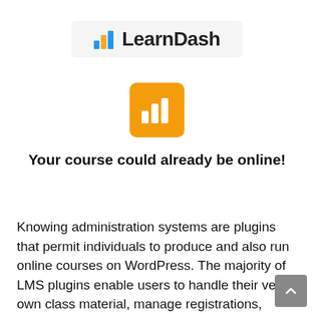[Figure (logo): LearnDash logo with bar chart icon and text 'LearnDash']
[Figure (logo): Orange rounded square icon with white bar chart bars]
Your course could already be online!
Knowing administration systems are plugins that permit individuals to produce and also run online courses on WordPress. The majority of LMS plugins enable users to handle their very own class material, manage registrations, permit the sale as well as distributions of their...